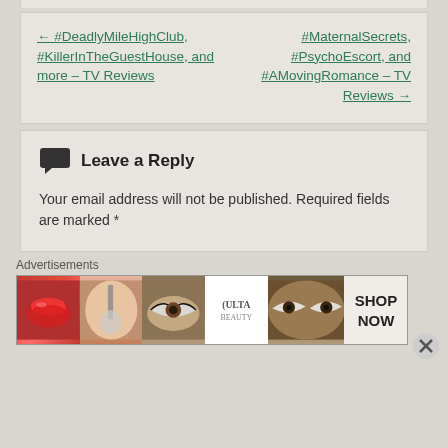← #DeadlyMileHighClub, #KillerInTheGuestHouse, and more – TV Reviews
#MaternalSecrets, #PsychoEscort, and #AMovingRomance – TV Reviews →
Leave a Reply
Your email address will not be published. Required fields are marked *
Advertisements
[Figure (photo): Advertisements banner showing beauty/makeup products including lips with lipstick, makeup brush, eye with makeup, Ulta Beauty logo, smokey eyes, and SHOP NOW button]